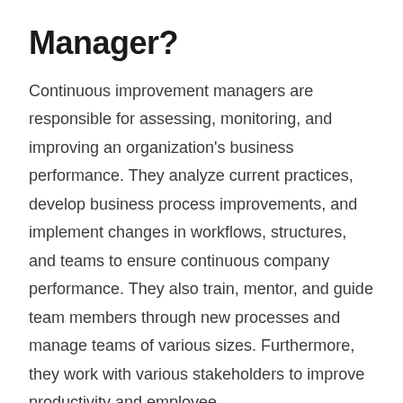Manager?
Continuous improvement managers are responsible for assessing, monitoring, and improving an organization's business performance. They analyze current practices, develop business process improvements, and implement changes in workflows, structures, and teams to ensure continuous company performance. They also train, mentor, and guide team members through new processes and manage teams of various sizes. Furthermore, they work with various stakeholders to improve productivity and employee